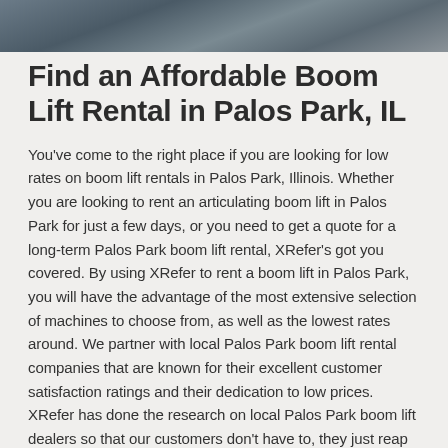[Figure (photo): Dark photograph of construction equipment or machinery, partially visible at top of page]
Find an Affordable Boom Lift Rental in Palos Park, IL
You've come to the right place if you are looking for low rates on boom lift rentals in Palos Park, Illinois. Whether you are looking to rent an articulating boom lift in Palos Park for just a few days, or you need to get a quote for a long-term Palos Park boom lift rental, XRefer's got you covered. By using XRefer to rent a boom lift in Palos Park, you will have the advantage of the most extensive selection of machines to choose from, as well as the lowest rates around. We partner with local Palos Park boom lift rental companies that are known for their excellent customer satisfaction ratings and their dedication to low prices. XRefer has done the research on local Palos Park boom lift dealers so that our customers don't have to, they just reap the benefits of lower prices and quick boom lift rentals in Palos Park, Illinois.
The Best Selection of Boom Lift